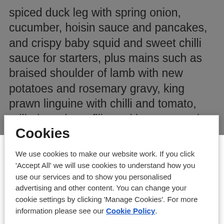spiced duck leg with spring onion, cucumber, hoisin sauce and pancakes, and crispy baby squid and sweet chilli sauce for starters, plus mains such as braised shoulder of lamb with new potatoes and rosemary gravy, king prawn linguine with chilli and tomato, grilled sea bass fillets with potato and shallot terrine and chervil and lemon cream sauce, pork and leek sausages with mash, buttered greens and onion gravy, and sweet potato, aubergine and spinach Malaysian curry with coconut rice and pak choi. Typical desserts
Cookies
We use cookies to make our website work. If you click 'Accept All' we will use cookies to understand how you use our services and to show you personalised advertising and other content. You can change your cookie settings by clicking 'Manage Cookies'. For more information please see our Cookie Policy.
Manage Cookie Settings
Accept All Cookies